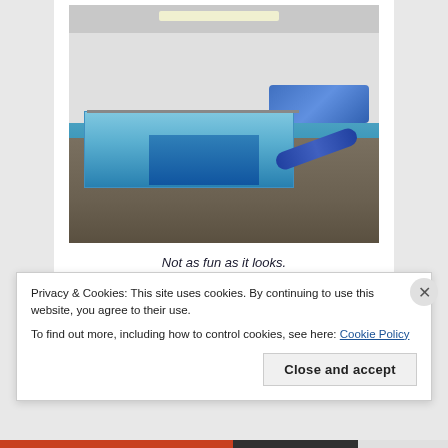[Figure (photo): Indoor hydrotherapy or swim spa pool room with blue water, dark tile surround, handrails, a blue foam mat/cushion along the back wall, a rolled cover or roller on the right side, an AC unit on the upper left wall, a projection screen, and a fluorescent ceiling light.]
Not as fun as it looks.
Privacy & Cookies: This site uses cookies. By continuing to use this website, you agree to their use.
To find out more, including how to control cookies, see here: Cookie Policy
Close and accept